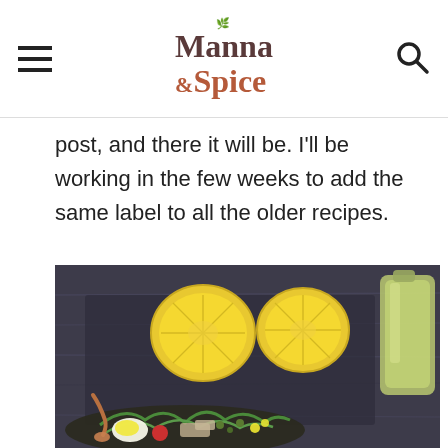Manna & Spice
post, and there it will be. I'll be working in the few weeks to add the same label to all the older recipes.
[Figure (photo): A food photography shot on a dark wooden surface showing two halved lemons in the center, a glass carafe with green dressing on the right, and a dark bowl of Nicoise salad with greens, hard-boiled eggs, cherry tomatoes, tuna, and capers in the foreground, with a copper spoon on the left.]